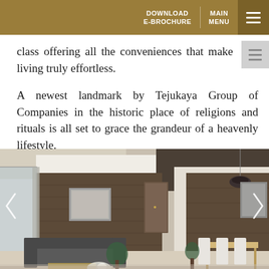DOWNLOAD E-BROCHURE  MAIN MENU
class offering all the conveniences that make living truly effortless.
A newest landmark by Tejukaya Group of Companies in the historic place of religions and rituals is all set to grace the grandeur of a heavenly lifestyle.
[Figure (photo): Interior photo of a modern luxury apartment living and dining area with dark wood panel walls, recessed ceiling with indirect lighting, grey sofa, dining table with white chairs, indoor plants, and framed artwork on the wall.]